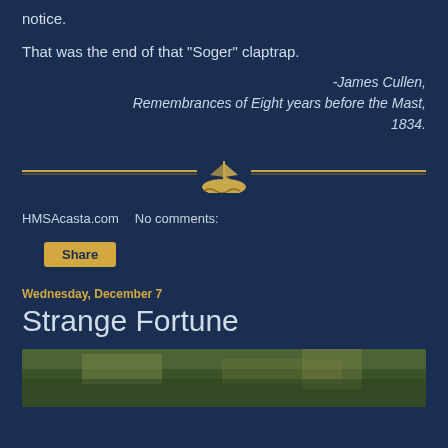notice.
That was the end of that "Soger" claptrap.
-James Cullen, Remembrances of Eight years before the Mast, 1834.
[Figure (illustration): Decorative horizontal divider with two golden lines and a sailing ship illustration in the center]
HMSAcasta.com    No comments:
Share
Wednesday, December 7
Strange Fortune
[Figure (photo): Partial photo of a landscape or battle scene, mostly cut off at bottom of page]